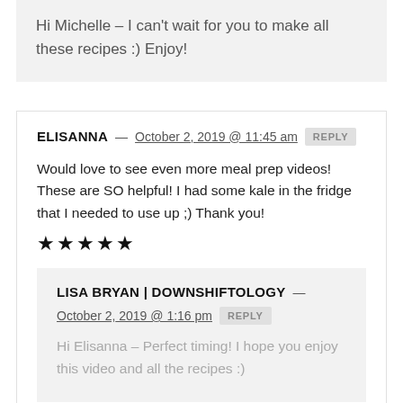Hi Michelle – I can't wait for you to make all these recipes :) Enjoy!
ELISANNA — October 2, 2019 @ 11:45 am REPLY
Would love to see even more meal prep videos! These are SO helpful! I had some kale in the fridge that I needed to use up ;) Thank you! ★★★★★
LISA BRYAN | DOWNSHIFTOLOGY — October 2, 2019 @ 1:16 pm REPLY
Hi Elisanna – Perfect timing! I hope you enjoy this video and all the recipes :)